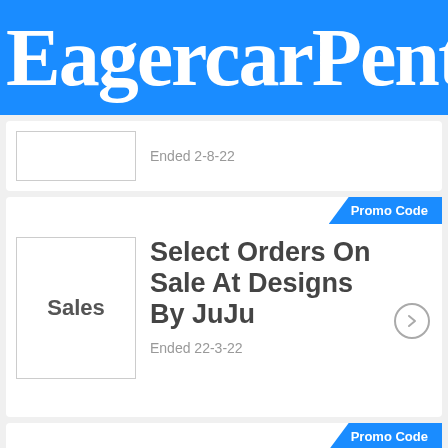EagercarPent
Ended 2-8-22
Promo Code
Select Orders On Sale At Designs By JuJu
Ended 22-3-22
Promo Code
Designs By Juju Discount Code: Up